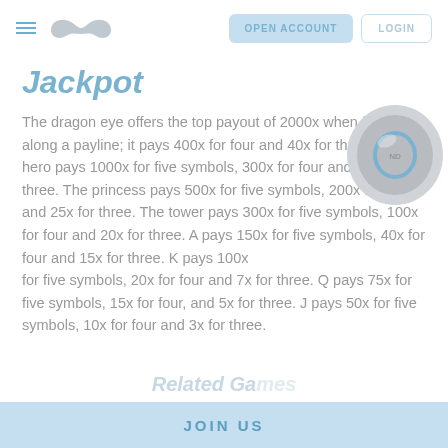OPEN ACCOUNT  LOGIN
Jackpot
The dragon eye offers the top payout of 2000x when five land along a payline; it pays 400x for four and 40x for three. The hero pays 1000x for five symbols, 300x for four and 30x for three. The princess pays 500x for five symbols, 200x for four and 25x for three. The tower pays 300x for five symbols, 100x for four and 20x for three. A pays 150x for five symbols, 40x for four and 15x for three. K pays 100x for five symbols, 20x for four and 7x for three. Q pays 75x for five symbols, 15x for four, and 5x for three. J pays 50x for five symbols, 10x for four and 3x for three.
JOIN US